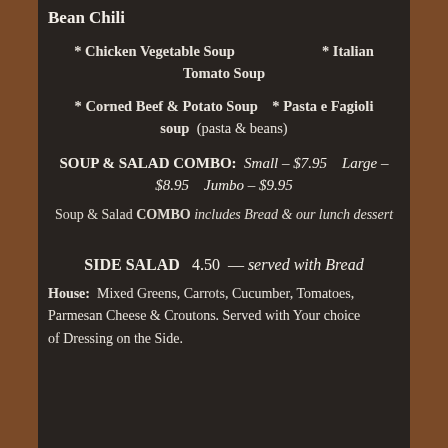Bean Chili
* Chicken Vegetable Soup     * Italian Tomato Soup
* Corned Beef & Potato Soup     * Pasta e Fagioli soup  (pasta & beans)
SOUP & SALAD COMBO:  Small - $7.95    Large - $8.95    Jumbo - $9.95
Soup & Salad COMBO includes Bread & our lunch dessert
SIDE SALAD   4.50  —  served with Bread
House:  Mixed Greens, Carrots, Cucumber, Tomatoes, Parmesan Cheese & Croutons. Served with Your choice of Dressing on the Side.